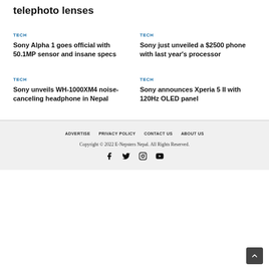telephoto lenses
TECH
Sony Alpha 1 goes official with 50.1MP sensor and insane specs
TECH
Sony just unveiled a $2500 phone with last year's processor
TECH
Sony unveils WH-1000XM4 noise-canceling headphone in Nepal
TECH
Sony announces Xperia 5 II with 120Hz OLED panel
ADVERTISE   PRIVACY POLICY   CONTACT US   ABOUT US
Copyright © 2022 E-Nepsters Nepal. All Rights Reserved.